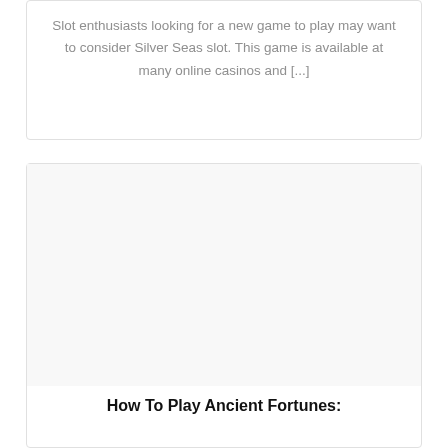Slot enthusiasts looking for a new game to play may want to consider Silver Seas slot. This game is available at many online casinos and [...]
[Figure (other): Blank white image area placeholder for a second article card]
How To Play Ancient Fortunes: